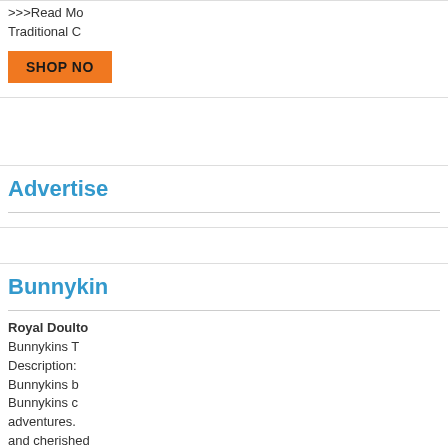>>>Read Mo
Traditional C
SHOP NO
Advertise
Bunnykin
Royal Doulto Bunnykins T Description: Bunnykins b Bunnykins c adventures. and cherished world.Include spoonPreser Bunnikins gi
>>>Read M